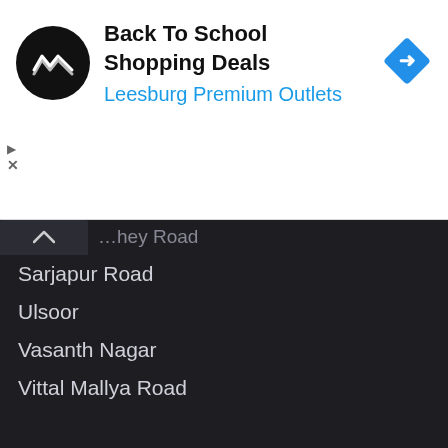[Figure (screenshot): Advertisement banner for Back To School Shopping Deals at Leesburg Premium Outlets with circular black logo and blue navigation icon]
…hey Road
Sarjapur Road
Ulsoor
Vasanth Nagar
Vittal Mallya Road
Whitefield
Yeshwantpura
Malls Market
About Us
Contact Us
Privacy Policy
Terms Of Use